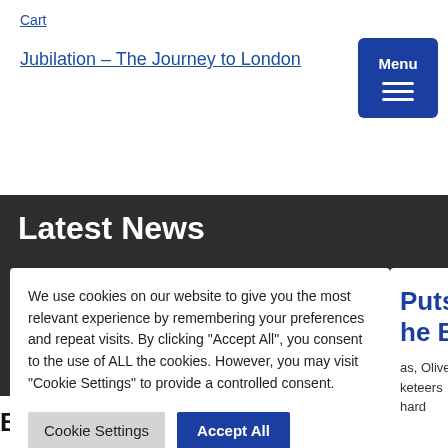Cart
Jubilation – The Journey to London
Menu
Latest News
We use cookies on our website to give you the most relevant experience by remembering your preferences and repeat visits. By clicking "Accept All", you consent to the use of ALL the cookies. However, you may visit "Cookie Settings" to provide a controlled consent.
Cookie Settings   Accept All
Puts
he Big
as, Oliver
keteers
hard
Bridgwater Carnival returns for 2022